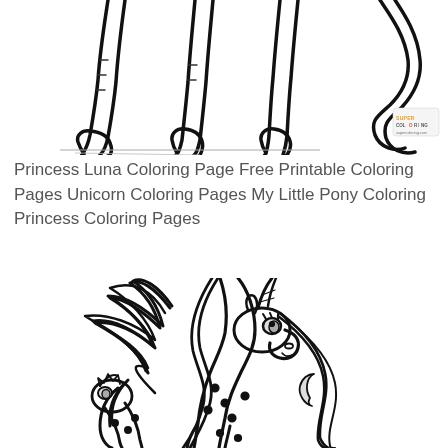[Figure (illustration): Partial view of My Little Pony characters' hooves and lower legs standing, with stylized cartoon outlines in black and white coloring page style. A SuperColoring.com watermark logo appears in the upper right.]
Princess Luna Coloring Page Free Printable Coloring Pages Unicorn Coloring Pages My Little Pony Coloring Princess Coloring Pages
[Figure (illustration): Black and white coloring page illustration of Princess Luna from My Little Pony — a winged unicorn (alicorn) with a long flowing mane, horn, and decorative spots on her body, shown in a rearing or proud pose.]